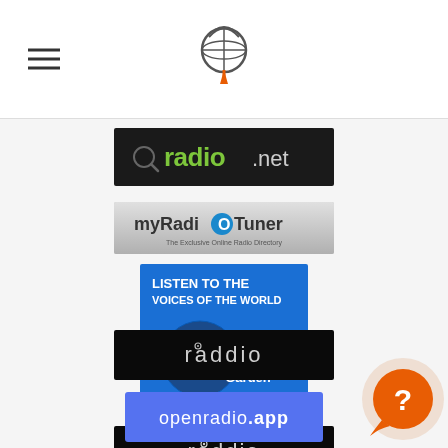Navigation header with hamburger menu and radio directory logo
[Figure (logo): radio.net logo - green text on dark background]
[Figure (logo): myRadioTuner logo - The Exclusive Online Radio Directory]
[Figure (logo): Live Radio Garden - Listen to the voices of the world, blue square with earth image]
[Figure (logo): raddio logo - white text on black background]
[Figure (logo): openradio.app logo - white text on blue background]
[Figure (logo): RadioShaker logo with microphone icon and teal text]